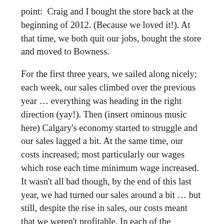point:  Craig and I bought the store back at the beginning of 2012. (Because we loved it!). At that time, we both quit our jobs, bought the store and moved to Bowness.
For the first three years, we sailed along nicely; each week, our sales climbed over the previous year … everything was heading in the right direction (yay!). Then (insert ominous music here) Calgary's economy started to struggle and our sales lagged a bit. At the same time, our costs increased; most particularly our wages which rose each time minimum wage increased. It wasn't all bad though, by the end of this last year, we had turned our sales around a bit … but still, despite the rise in sales, our costs meant that we weren't profitable. In each of the unprofitable years, Craig and I borrowed additional money and dug into our savings to cover the losses.
It so happened that one of our customers checked in